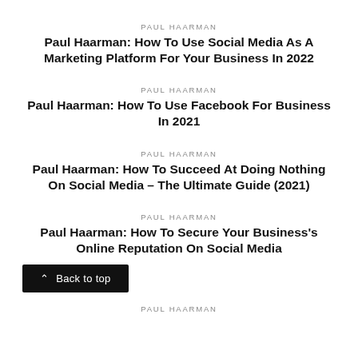PAUL HAARMAN
Paul Haarman: How To Use Social Media As A Marketing Platform For Your Business In 2022
PAUL HAARMAN
Paul Haarman: How To Use Facebook For Business In 2021
PAUL HAARMAN
Paul Haarman: How To Succeed At Doing Nothing On Social Media – The Ultimate Guide (2021)
PAUL HAARMAN
Paul Haarman: How To Secure Your Business's Online Reputation On Social Media
Back to top
PAUL HAARMAN